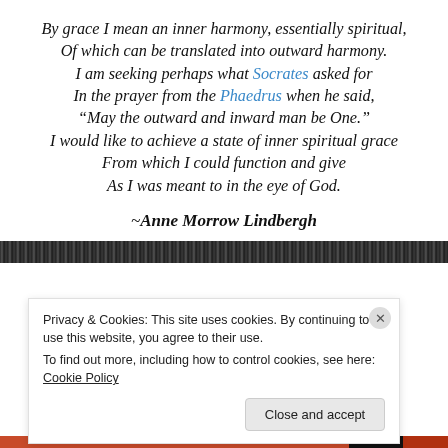By grace I mean an inner harmony, essentially spiritual,
Of which can be translated into outward harmony.
I am seeking perhaps what Socrates asked for
In the prayer from the Phaedrus when he said,
“May the outward and inward man be One.”
I would like to achieve a state of inner spiritual grace
From which I could function and give
As I was meant to in the eye of God.
~Anne Morrow Lindbergh
[Figure (other): Dark textured horizontal bar]
Privacy & Cookies: This site uses cookies. By continuing to use this website, you agree to their use.
To find out more, including how to control cookies, see here: Cookie Policy
Close and accept